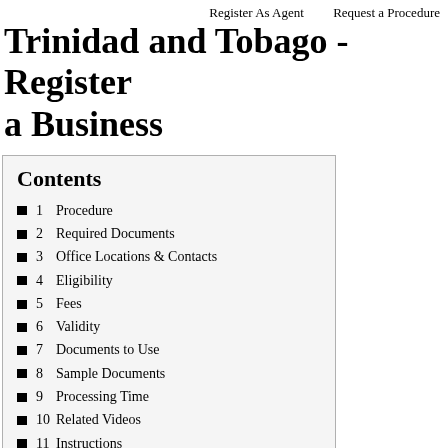Register As Agent   Request a Procedure
Trinidad and Tobago - Register a Business
Contents
1  Procedure
2  Required Documents
3  Office Locations & Contacts
4  Eligibility
5  Fees
6  Validity
7  Documents to Use
8  Sample Documents
9  Processing Time
10  Related Videos
11  Instructions
12  Required Information
13  Need for the Document
14  Information which might help
15  Other uses of the Document/Certificate